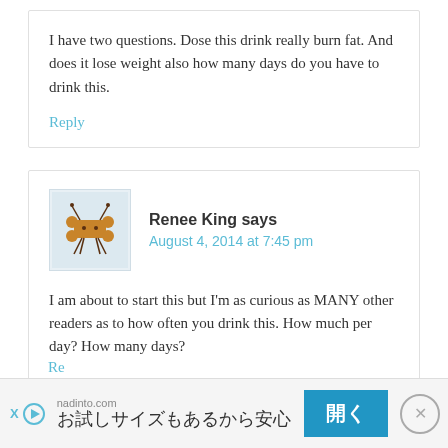I have two questions. Dose this drink really burn fat. And does it lose weight also how many days do you have to drink this.
Reply
[Figure (illustration): Cartoon avatar of a brown dog bone character with stick legs and antennae, on a light blue background]
Renee King says
August 4, 2014 at 7:45 pm
I am about to start this but I'm as curious as MANY other readers as to how often you drink this. How much per day? How many days?
Re
nadinto.com
お試しサイズもあるから安心